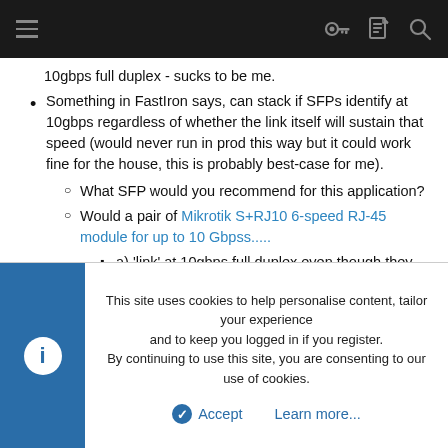Navigation bar with hamburger menu, key icon, document icon, and search icon
10gbps full duplex - sucks to be me.
Something in FastIron says, can stack if SFPs identify at 10gbps regardless of whether the link itself will sustain that speed (would never run in prod this way but it could work fine for the house, this is probably best-case for me).
What SFP would you recommend for this application?
Would a pair of Mikrotik S+RJ10 6-speed RJ-45 module for up to 10 Gbpss.....
a) 'link' at 10gbps full duplex even though they would effectively be rate-limited at 2.5gbps, or
b) autonegotiate to 2.5gbps?
This site uses cookies to help personalise content, tailor your experience and to keep you logged in if you register.
By continuing to use this site, you are consenting to our use of cookies.
Accept   Learn more...